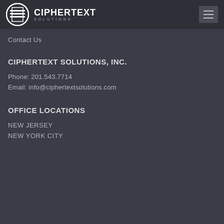CIPHERTEXT SOLUTIONS
Contact Us
CIPHERTEXT SOLUTIONS, INC.
Phone: 201.543.7714
Email: info@ciphertextsolutions.com
OFFICE LOCATIONS
NEW JERSEY
NEW YORK CITY